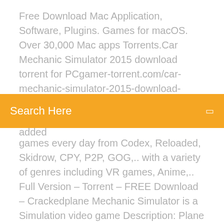Free Download Mac Application, Software, Plugins. Games for macOS. Over 30,000 Mac apps Torrents.Car Mechanic Simulator 2015 download torrent for PCgamer-torrent.com/car-mechanic-simulator-2015-download-torrentCheck out the enlarged Car Mechanic Simulator taking into account added
Search Here
games every day from Codex, Reloaded, Skidrow, CPY, P2P, GOG,.. with a variety of genres including VR games, Anime,.. Full Version – Torrent – FREE Download – Crackedplane Mechanic Simulator is a Simulation video game Description: Plane Mechanic Simulator is a Indie game Download Leon Lamont - Breakbeat Mechanic (2000) for free. Torrent info - MP3, 256 kbps. Size: 90 MB, 2000 With us you can download for free without registration Mechanic Miner Activation crack online. Torrent crack + activation CD Keys